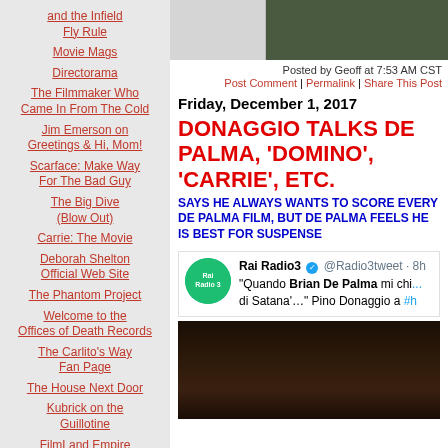and the Infield Fly Rule
Movie Mags
Directorama
The Filmmaker Who Came In From The Cold
Jim Emerson on Greetings & Hi, Mom!
Scarface: Make Way For The Bad Guy
The Big Dive (Blow Out)
Carrie: The Movie
Deborah Shelton Official Web Site
The Phantom Project
Welcome to the Offices of Death Records
The Carlito's Way Fan Page
The House Next Door
Kubrick on the Guillotine
FilmLand Empire
[Figure (screenshot): Top image strip showing partial photos]
Posted by Geoff at 7:53 AM CST
Post Comment | Permalink | Share This Post
Friday, December 1, 2017
DONAGGIO TALKS DE PALMA, 'DOMINO', 'CARRIE', ETC.
SAYS HE ALWAYS WANTS TO SCORE EVERY DE PALMA FILM, BUT DE PALMA FEELS HE IS BEST FOR SUSPENSE
[Figure (screenshot): Rai Radio3 tweet: Quando Brian De Palma mi chi... di Satana'...' Pino Donaggio a #h]
[Figure (photo): Dark photo at bottom of article]